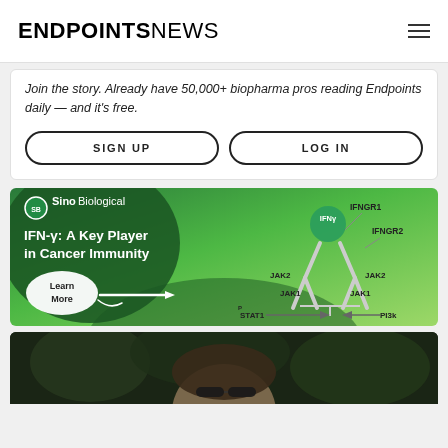ENDPOINTS NEWS
Join the story. Already have 50,000+ biopharma pros reading Endpoints daily — and it's free.
SIGN UP
LOG IN
[Figure (illustration): Sino Biological advertisement banner with green background showing IFN-γ signaling pathway diagram. Left side shows SB logo, headline 'IFN-γ: A Key Player in Cancer Immunity', and 'Learn More' bubble. Right side shows molecular diagram with IFNγ, IFNGR1, IFNGR2, JAK1, JAK2, STAT1, PI3k labels.]
[Figure (photo): Partial photo of a person wearing sunglasses against a dark leafy background, cropped at bottom of page.]